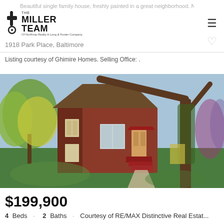The Miller Team - Of Northrop Realty A Long & Foster Company
Beautiful single family house, freshly painted in a great neighborhood. New wo...
1918 Park Place, Baltimore
Listing courtesy of Ghimire Homes. Selling Office: .
[Figure (photo): Exterior photo of a brick single-family house with red front steps, green lawn, and large trees on the property.]
$199,900
4 Beds · 2 Baths · Courtesy of RE/MAX Distinctive Real Estat...